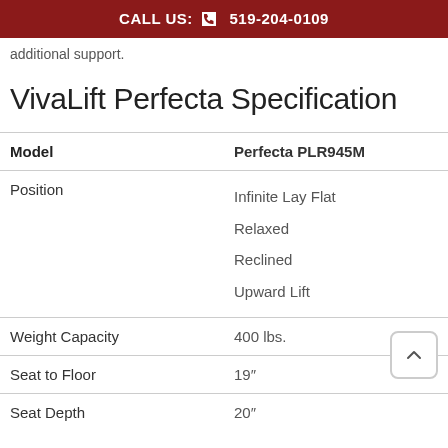CALL US: 519-204-0109
additional support.
VivaLift Perfecta Specification
|  |  |
| --- | --- |
| Model | Perfecta PLR945M |
| Position | Infinite Lay Flat
Relaxed
Reclined
Upward Lift |
| Weight Capacity | 400 lbs. |
| Seat to Floor | 19" |
| Seat Depth | 20" |